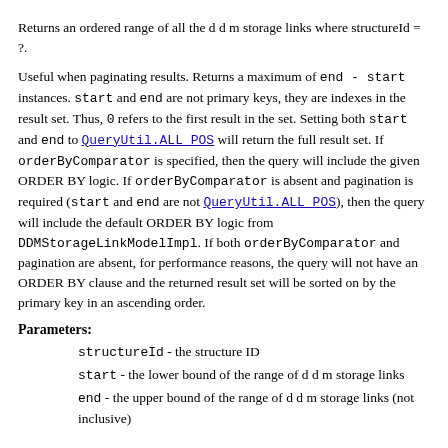Returns an ordered range of all the d d m storage links where structureId = ?.
Useful when paginating results. Returns a maximum of end - start instances. start and end are not primary keys, they are indexes in the result set. Thus, 0 refers to the first result in the set. Setting both start and end to QueryUtil.ALL_POS will return the full result set. If orderByComparator is specified, then the query will include the given ORDER BY logic. If orderByComparator is absent and pagination is required (start and end are not QueryUtil.ALL_POS), then the query will include the default ORDER BY logic from DDMStorageLinkModelImpl. If both orderByComparator and pagination are absent, for performance reasons, the query will not have an ORDER BY clause and the returned result set will be sorted on by the primary key in an ascending order.
Parameters:
structureId - the structure ID
start - the lower bound of the range of d d m storage links
end - the upper bound of the range of d d m storage links (not inclusive)